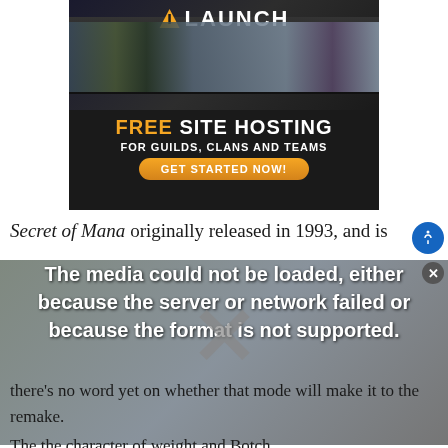[Figure (screenshot): Advertisement banner for VLaunch free site hosting for guilds, clans and teams with game character images and GET STARTED NOW button]
Secret of Mana originally released in 1993, and is
[Figure (screenshot): Video player error overlay: 'The media could not be loaded, either because the server or network failed or because the format is not supported.' with X mark. NFL sidebar text visible: 'Why Did The NFL Watson An 11-Game Suspension?']
there's no word yet on whether that mode will make it to the remake.
The the character of weight and Botch...